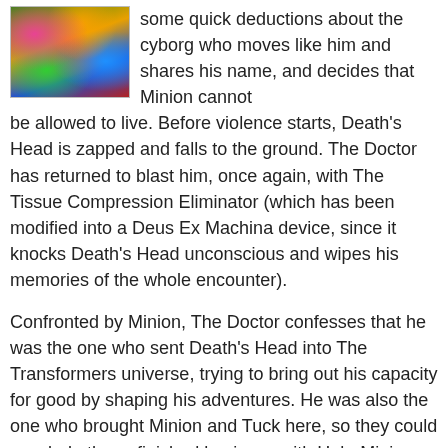[Figure (illustration): Colorful illustrated image with vibrant green, orange, red, blue and yellow colors, likely a comic book cover or panel featuring Death's Head.]
some quick deductions about the cyborg who moves like him and shares his name, and decides that Minion cannot be allowed to live. Before violence starts, Death's Head is zapped and falls to the ground. The Doctor has returned to blast him, once again, with The Tissue Compression Eliminator (which has been modified into a Deus Ex Machina device, since it knocks Death's Head unconscious and wipes his memories of the whole encounter).
Confronted by Minion, The Doctor confesses that he was the one who sent Death's Head into The Transformers universe, trying to bring out his capacity for good by shaping his adventures. He was also the one who brought Minion and Tuck here, so they could conclude the unfinished business with Hob. Minion appreciates the save, but dislikes being manipulated, and so warns The Doctor against doing so again (and, continuing the theme of Minion being tougher than any other comic character, The Doctor meekly accepts). Minion and Tuck return to their own time, while The Doctor helps Death's Head back to his feet.
A summary of the plot would be